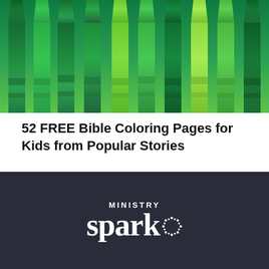[Figure (photo): A row of green crayons of various shades, viewed from the top at an angle, with a teal/green background.]
52 FREE Bible Coloring Pages for Kids from Popular Stories
[Figure (logo): Ministry Spark logo — white text on dark navy background. 'MINISTRY' in small caps above large serif 'spark' text with a starburst dot pattern to the right.]